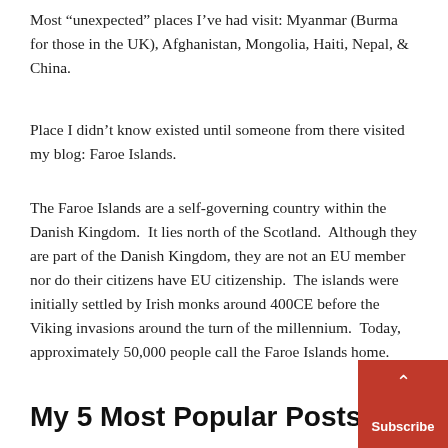Most “unexpected” places I’ve had visit: Myanmar (Burma for those in the UK), Afghanistan, Mongolia, Haiti, Nepal, & China.
Place I didn’t know existed until someone from there visited my blog: Faroe Islands.
The Faroe Islands are a self-governing country within the Danish Kingdom. It lies north of the Scotland. Although they are part of the Danish Kingdom, they are not an EU member nor do their citizens have EU citizenship. The islands were initially settled by Irish monks around 400CE before the Viking invasions around the turn of the millennium. Today, approximately 50,000 people call the Faroe Islands home.
My 5 Most Popular Posts: